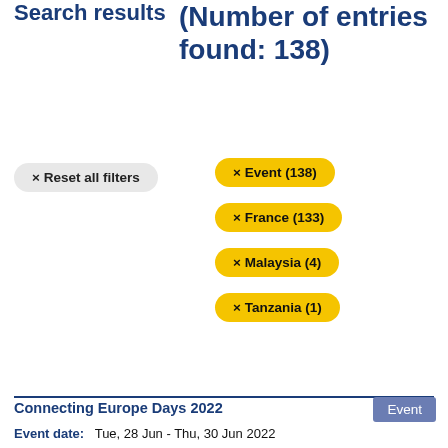Search results (Number of entries found: 138)
× Reset all filters
× Event (138)
× France (133)
× Malaysia (4)
× Tanzania (1)
Connecting Europe Days 2022
Event date:   Tue, 28 Jun - Thu, 30 Jun 2022
Location:
Lyon Convention Centre, 50 Quai Charles de Gaulle, 69463 Lyon 06, France
The Connecting Europe Days – formerly known as